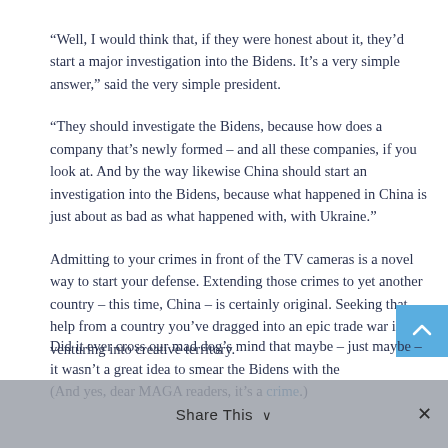“Well, I would think that, if they were honest about it, they’d start a major investigation into the Bidens. It’s a very simple answer,” said the very simple president.
“They should investigate the Bidens, because how does a company that’s newly formed – and all these companies, if you look at. And by the way likewise China should start an investigation into the Bidens, because what happened in China is just about as bad as what happened with, with Ukraine.”
Admitting to your crimes in front of the TV cameras is a novel way to start your defense. Extending those crimes to yet another country – this time, China – is certainly original. Seeking that help from a country you’ve dragged into an epic trade war is venturing into creative territory.
(And yes, dear MAGA readers, it’s a crime.)
Did it ever cross our mad dog’s mind that maybe – just maybe – it wasn’t a great idea to smear the Bidens with the